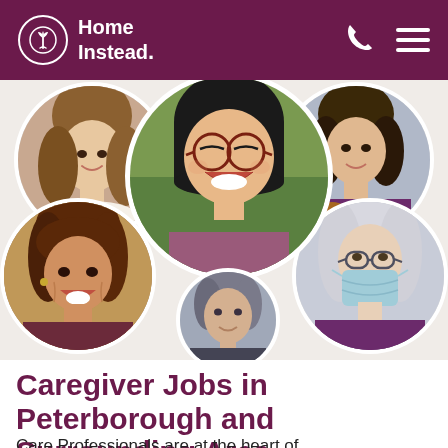Home Instead.
[Figure (photo): Collage of five circular portrait photos of care professionals smiling, wearing purple uniforms. Center features a young Asian woman laughing. Other portraits include a Hispanic woman, an older man, a woman in a medical mask, and two other women.]
Caregiver Jobs in Peterborough and Surrounding Area
Care Professionals are at the heart of